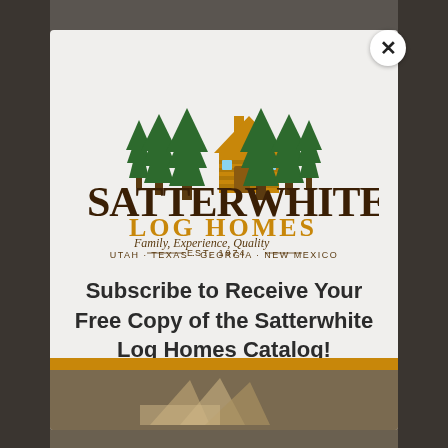[Figure (logo): Satterwhite Log Homes logo with pine trees, log cabin icon, arched 'SATTERWHITE' text, 'LOG HOMES' subtitle, tagline 'Family, Experience, Quality', 'EST. 1974', and 'UTAH·TEXAS·GEORGIA·NEW MEXICO']
Subscribe to Receive Your Free Copy of the Satterwhite Log Homes Catalog!
[Figure (photo): Background photo of a log home delivery truck and bottom strip showing catalog materials]